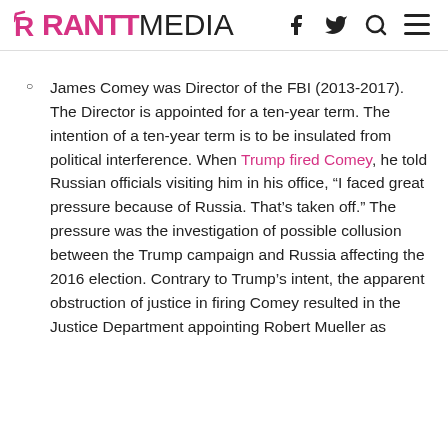RANTT MEDIA
[truncated text in pink above list]
James Comey was Director of the FBI (2013-2017). The Director is appointed for a ten-year term. The intention of a ten-year term is to be insulated from political interference. When Trump fired Comey, he told Russian officials visiting him in his office, “I faced great pressure because of Russia. That’s taken off.” The pressure was the investigation of possible collusion between the Trump campaign and Russia affecting the 2016 election. Contrary to Trump’s intent, the apparent obstruction of justice in firing Comey resulted in the Justice Department appointing Robert Mueller as